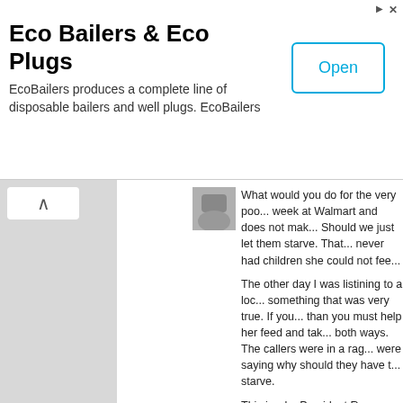[Figure (screenshot): Advertisement banner for Eco Bailers and Eco Plugs with Open button]
Eco Bailers & Eco Plugs
EcoBailers produces a complete line of disposable bailers and well plugs. EcoBailers
What would you do for the very poo... week at Walmart and does not mak... Should we just let them starve. That... never had children she could not fee...
The other day I was listining to a loc... something that was very true. If you... than you must help her feed and tak... both ways. The callers were in a rag... were saying why should they have t... starve.
This is why President Reagan, woul... party of uncaring very rich old white...
Like · Reply · Mark as spam · 9y
Jan Renner
Come on Roger. You can't hang tha... countless republicans who not only...